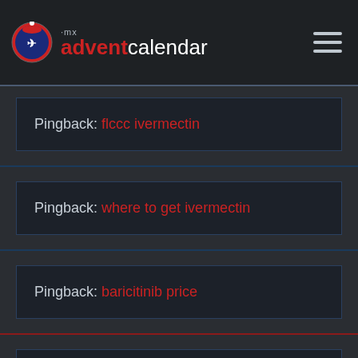mx advent calendar
Pingback: flccc ivermectin
Pingback: where to get ivermectin
Pingback: baricitinib price
Pingback: baricitinib lilly